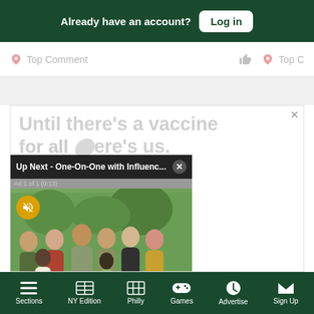Already have an account? Log in
Top Comment  Top C
[Figure (screenshot): Advertisement showing text 'Until there's a vaccine for all... there's us.' with a group photo of diverse people in a park setting, overlaid by a video player bar 'Up Next - One-On-One with Influenc...' with a close button, mute button, and ad badge 'Ad 1 of 1 (0:13)']
Sections  NY Edition  Philly  Games  Advertise  Sign Up